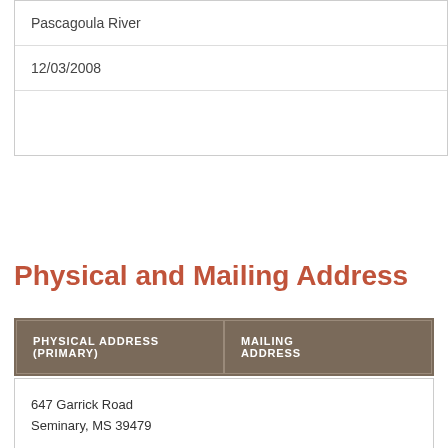| Pascagoula River |
| 12/03/2008 |
|  |
Physical and Mailing Address
| PHYSICAL ADDRESS (PRIMARY) | MAILING ADDRESS |
| --- | --- |
| 647 Garrick Road
Seminary, MS 39479 |  |